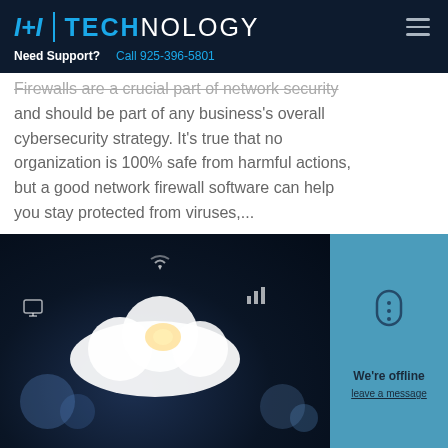I+I | TECHNOLOGY  Need Support?  Call 925-396-5801
Firewalls are a crucial part of network security and should be part of any business's overall cybersecurity strategy. It's true that no organization is 100% safe from harmful actions, but a good network firewall software can help you stay protected from viruses,...
[Figure (photo): A person holding a glowing cloud icon surrounded by digital network icons and bokeh light effects, representing cloud technology and connectivity. A chat widget overlay on the right reads 'We're offline' and 'leave a message'.]